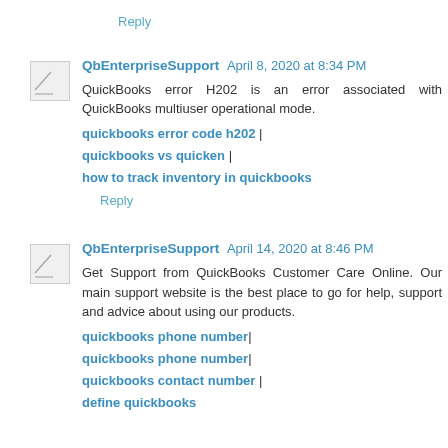Reply
QbEnterpriseSupport April 8, 2020 at 8:34 PM
QuickBooks error H202 is an error associated with QuickBooks multiuser operational mode.
quickbooks error code h202 |
quickbooks vs quicken |
how to track inventory in quickbooks
Reply
QbEnterpriseSupport April 14, 2020 at 8:46 PM
Get Support from QuickBooks Customer Care Online. Our main support website is the best place to go for help, support and advice about using our products.
quickbooks phone number|
quickbooks phone number|
quickbooks contact number |
define quickbooks